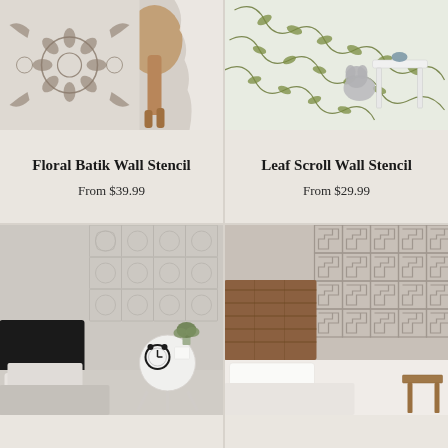[Figure (photo): Floral Batik wall stencil pattern on wall with wooden stool]
Floral Batik Wall Stencil
From $39.99
[Figure (photo): Leaf Scroll wall stencil with green vine pattern on wall with white step stool and stuffed animal]
Leaf Scroll Wall Stencil
From $29.99
[Figure (photo): Bedroom with stenciled wall pattern, white side table with clock, black headboard bed]
[Figure (photo): Bedroom with Greek key wall stencil pattern, rustic wooden headboard, white bedding and wooden stool]